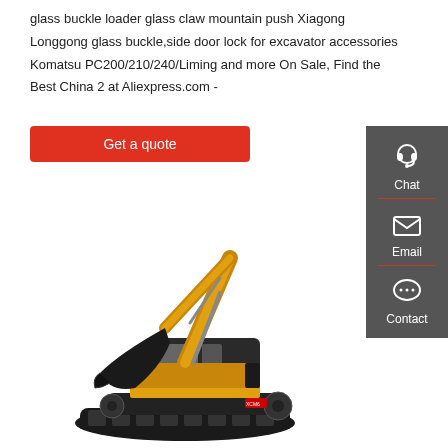glass buckle loader glass claw mountain push Xiagong Longgong glass buckle,side door lock for excavator accessories Komatsu PC200/210/240/Liming and more On Sale, Find the Best China 2 at Aliexpress.com -
[Figure (other): Red button labeled 'Get a quote']
[Figure (other): Dark gray sidebar with Chat (headset icon), Email (envelope icon), and Contact (speech bubble icon) options]
[Figure (photo): Yellow and black excavator/crawler excavator on white background]